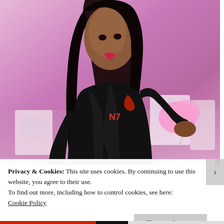[Figure (photo): A young woman with long dark hair wearing a black leather jacket with an N7 logo on an inner shirt, holding pink cotton candy in both hands. Background is pink/purple tinted, with white laundry machines visible behind her.]
Privacy & Cookies: This site uses cookies. By continuing to use this website, you agree to their use.
To find out more, including how to control cookies, see here:
Cookie Policy
Close and accept